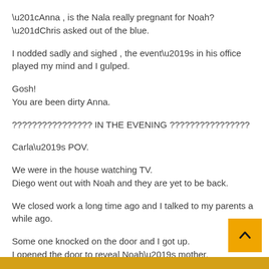“Anna , is the Nala really pregnant for Noah?”Chris asked out of the blue.
I nodded sadly and sighed , the event’s in his office played my mind and I gulped.
Gosh!
You are been dirty Anna.
???????????????? IN THE EVENING ????????????????
Carla’s POV.
We were in the house watching TV.
Diego went out with Noah and they are yet to be back.
We closed work a long time ago and I talked to my parents a while ago.
Some one knocked on the door and I got up.
I opened the door to reveal Noah’s mother.